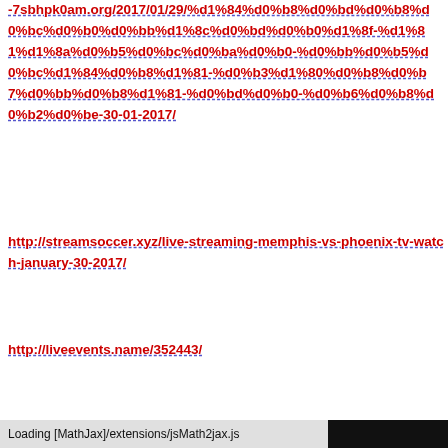-7sbhpk0am.org/2017/01/29/%d1%84%d0%b8%d0%bd%d0%b8%d0%bc%d0%b0%d0%bb%d1%8c%d0%bd%d0%b0%d1%8f-%d1%81%d1%8a%d0%b5%d0%bc%d0%ba%d0%b0-%d0%bb%d0%b5%d0%bc%d1%84%d0%b8%d1%81-%d0%b3%d1%80%d0%b8%d0%b7%d0%bb%d0%b8%d1%81-%d0%bd%d0%b0-%d0%b6%d0%b8%d0%b2%d0%be-30-01-2017/
http://streamsoccer.xyz/live-streaming-memphis-vs-phoenix-tv-watch-january-30-2017/
http://liveevents.name/352443/
Loading [MathJax]/extensions/jsMath2jax.js